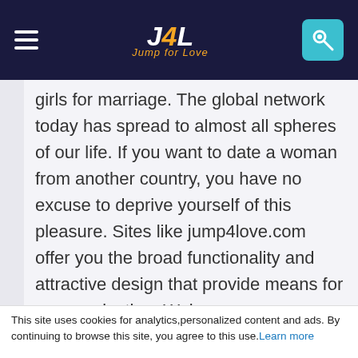J4L Jump for Love navigation header
girls for marriage. The global network today has spread to almost all spheres of our life. If you want to date a woman from another country, you have no excuse to deprive yourself of this pleasure. Sites like jump4love.com offer you the broad functionality and attractive design that provide means for communication. Web
This site uses cookies for analytics,personalized content and ads. By continuing to browse this site, you agree to this use. Learn more